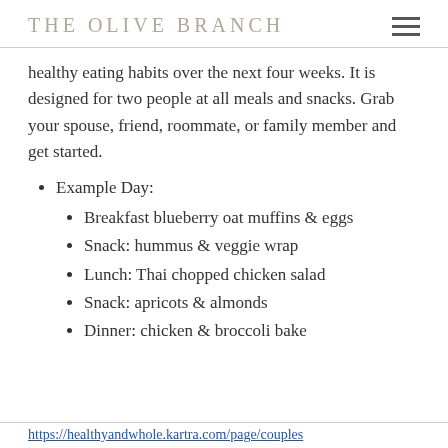THE OLIVE BRANCH
healthy eating habits over the next four weeks. It is designed for two people at all meals and snacks. Grab your spouse, friend, roommate, or family member and get started.
Example Day:
Breakfast blueberry oat muffins & eggs
Snack: hummus & veggie wrap
Lunch: Thai chopped chicken salad
Snack: apricots & almonds
Dinner: chicken & broccoli bake
https://healthyandwhole.kartra.com/page/couples